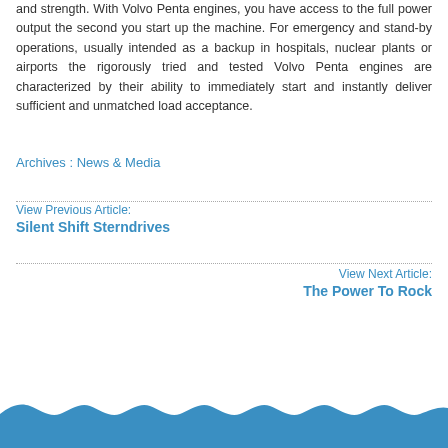and strength. With Volvo Penta engines, you have access to the full power output the second you start up the machine. For emergency and stand-by operations, usually intended as a backup in hospitals, nuclear plants or airports the rigorously tried and tested Volvo Penta engines are characterized by their ability to immediately start and instantly deliver sufficient and unmatched load acceptance.
Archives : News & Media
View Previous Article: Silent Shift Sterndrives
View Next Article: The Power To Rock